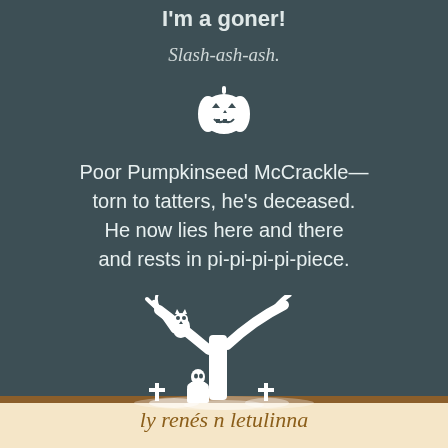I'm a goner!
Slash-ash-ash.
[Figure (illustration): White jack-o-lantern pumpkin emoji/icon]
Poor Pumpkinseed McCrackle—
torn to tatters, he's deceased.
He now lies here and there
and rests in pi-pi-pi-pi-piece.
[Figure (illustration): White silhouette of a spooky Halloween tree with an owl, bare branches, and graveyard tombstones at the base]
ly renés n letulinna